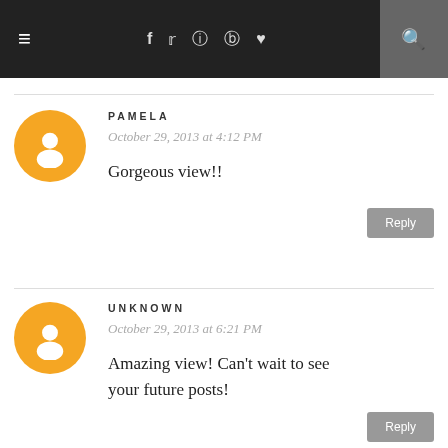≡  f  🐦  📷   pinterest  ♥  🔍
PAMELA
October 29, 2013 at 4:12 PM
Gorgeous view!!
UNKNOWN
October 29, 2013 at 6:21 PM
Amazing view! Can't wait to see your future posts!